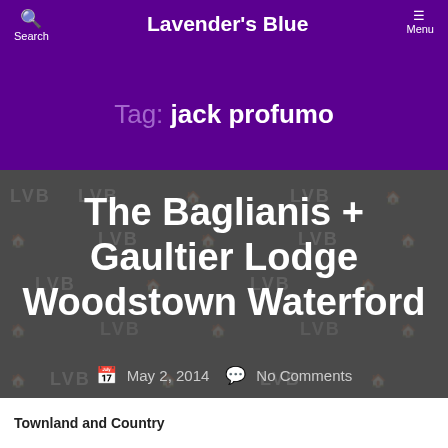Search   Lavender's Blue   Menu
Tag: jack profumo
[Figure (screenshot): Blog post card with watermark pattern background (LVB logos and building icons) showing article title 'The Baglianis + Gaultier Lodge Woodstown Waterford' with date May 2, 2014 and No Comments]
Townland and Country